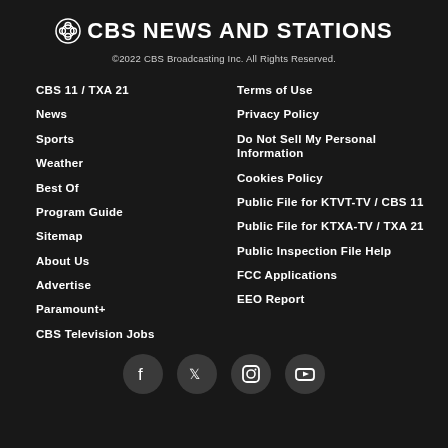CBS NEWS AND STATIONS
©2022 CBS Broadcasting Inc. All Rights Reserved.
CBS 11 / TXA 21
News
Sports
Weather
Best Of
Program Guide
Sitemap
About Us
Advertise
Paramount+
CBS Television Jobs
Terms of Use
Privacy Policy
Do Not Sell My Personal Information
Cookies Policy
Public File for KTVT-TV / CBS 11
Public File for KTXA-TV / TXA 21
Public Inspection File Help
FCC Applications
EEO Report
[Figure (other): Social media icons: Facebook, Twitter, Instagram, YouTube]